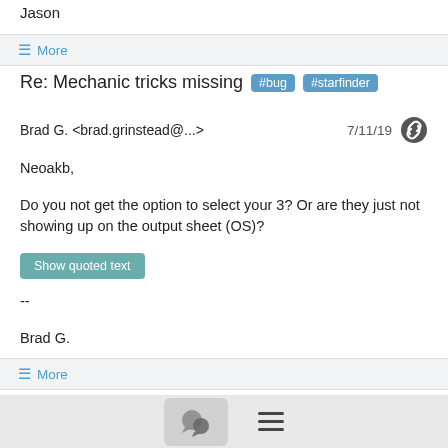Jason
≡ More
Re: Mechanic tricks missing #bug #starfinder
Brad G. <brad.grinstead@...>  7/11/19
Neoakb,

Do you not get the option to select your 3? Or are they just not showing up on the output sheet (OS)?
Show quoted text
--

Brad G.
≡ More